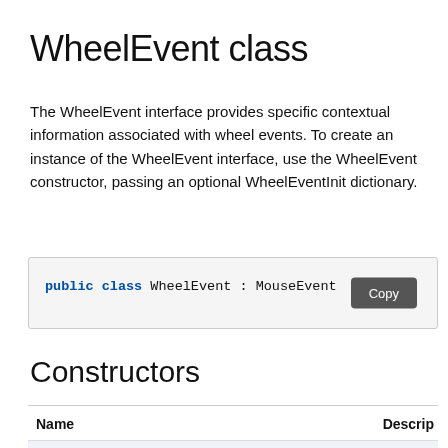WheelEvent class
The WheelEvent interface provides specific contextual information associated with wheel events. To create an instance of the WheelEvent interface, use the WheelEvent constructor, passing an optional WheelEventInit dictionary.
public class WheelEvent : MouseEvent
Constructors
| Name | Descrip… |
| --- | --- |
| WheelEvent(type)… | …initiali… |